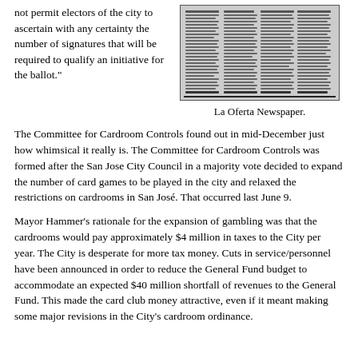not permit electors of the city to ascertain with any certainty the number of signatures that will be required to qualify an initiative for the ballot."
[Figure (photo): Scanned newspaper clipping image, appearing to be from La Oferta Newspaper, with multiple columns of small text.]
La Oferta Newspaper.
The Committee for Cardroom Controls found out in mid-December just how whimsical it really is. The Committee for Cardroom Controls was formed after the San Jose City Council in a majority vote decided to expand the number of card games to be played in the city and relaxed the restrictions on cardrooms in San José. That occurred last June 9.
Mayor Hammer's rationale for the expansion of gambling was that the cardrooms would pay approximately $4 million in taxes to the City per year. The City is desperate for more tax money. Cuts in service/personnel have been announced in order to reduce the General Fund budget to accommodate an expected $40 million shortfall of revenues to the General Fund. This made the card club money attractive, even if it meant making some major revisions in the City's cardroom ordinance.